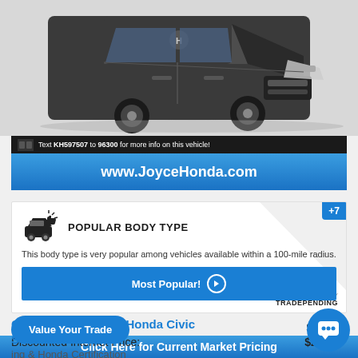[Figure (photo): Dark grey Honda Civic Sedan viewed from front-left angle on white background]
[Figure (infographic): Black banner: Text KH597507 to 96300 for more info on this vehicle! with blue banner showing www.JoyceHonda.com]
[Figure (infographic): Popular Body Type card with car icon and thumbs up, +7 badge, Most Popular! button, powered by TradePending]
Certified Used 2019 Honda Civic Sedan LX CVT
List Price: $27,725
Discounted Internet Price: $24,99
ing & Honda Certification
Value Your Trade
Click Here for Current Market Pricing